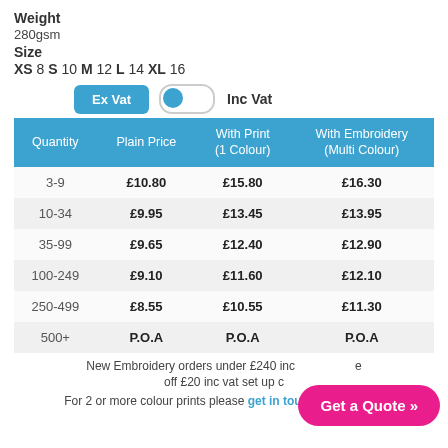Weight
280gsm
Size
XS 8 S 10 M 12 L 14 XL 16
Ex Vat  [toggle]  Inc Vat
| Quantity | Plain Price | With Print (1 Colour) | With Embroidery (Multi Colour) |
| --- | --- | --- | --- |
| 3-9 | £10.80 | £15.80 | £16.30 |
| 10-34 | £9.95 | £13.45 | £13.95 |
| 35-99 | £9.65 | £12.40 | £12.90 |
| 100-249 | £9.10 | £11.60 | £12.10 |
| 250-499 | £8.55 | £10.55 | £11.30 |
| 500+ | P.O.A | P.O.A | P.O.A |
New Embroidery orders under £240 inc ... off £20 inc vat set up ...
For 2 or more colour prints please get in touch with us for a